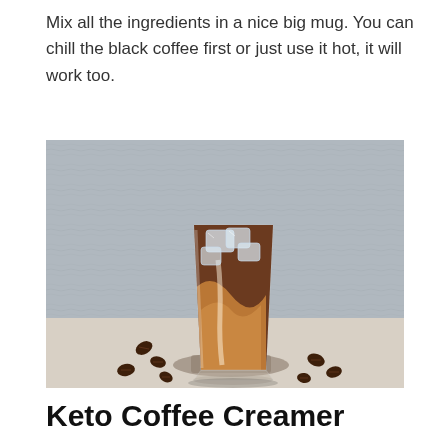Mix all the ingredients in a nice big mug. You can chill the black coffee first or just use it hot, it will work too.
[Figure (photo): A tall glass of iced coffee with ice cubes on top and a creamy brown swirl, served on a small cloth coaster with coffee beans scattered around it on a light surface, with a grey textured wall in the background.]
Keto Coffee Creamer
...